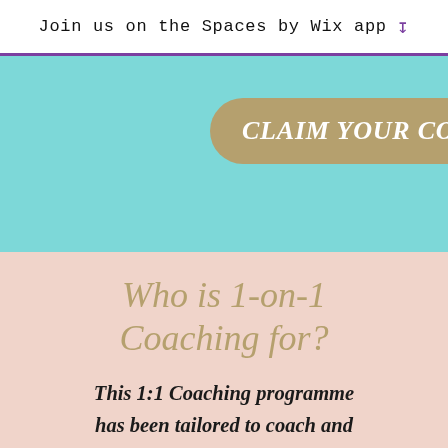Join us on the Spaces by Wix app
[Figure (screenshot): Teal/turquoise banner section with a gold pill-shaped button containing the text 'CLAIM YOUR COMPLIMEN' (partially visible, cut off at right edge)]
Who is 1-on-1 Coaching for?
This 1:1 Coaching programme has been tailored to coach and mentor those who are highly committed and want to master their life experience and currently feel: